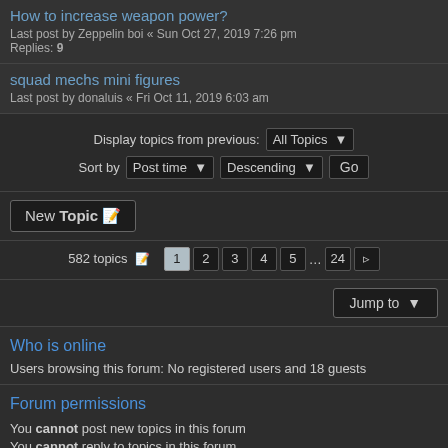How to increase weapon power?
Last post by Zeppelin boi « Sun Oct 27, 2019 7:26 pm
Replies: 9
squad mechs mini figures
Last post by donaluis « Fri Oct 11, 2019 6:03 am
Display topics from previous: All Topics ▼
Sort by Post time ▼ Descending ▼ Go
New Topic 🖊
582 topics 🖊 1 2 3 4 5 ... 24 ▶
Jump to ▼
Who is online
Users browsing this forum: No registered users and 18 guests
Forum permissions
You cannot post new topics in this forum
You cannot reply to topics in this forum
You cannot edit your posts in this forum
You cannot delete your posts in this forum